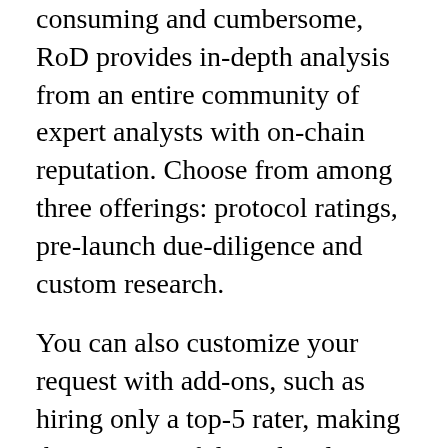consuming and cumbersome, RoD provides in-depth analysis from an entire community of expert analysts with on-chain reputation. Choose from among three offerings: protocol ratings, pre-launch due-diligence and custom research.
You can also customize your request with add-ons, such as hiring only a top-5 rater, making the report confidential and non-public.
What's more, as a Defiant reader, you get 50% off on all research requests made before June 10th (enter code: ALPHANOTALFALFA). Get started here or by clicking the image above.
Prime Rating has authored 100+ reports on DeFi